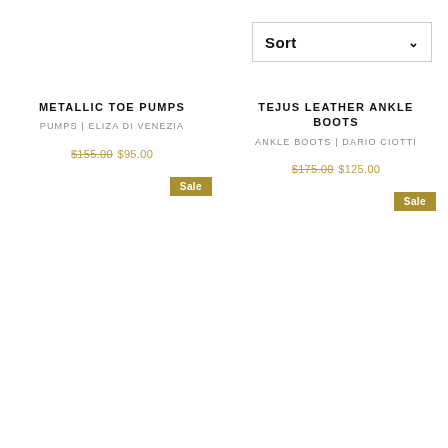[Figure (screenshot): Sort dropdown button with chevron]
METALLIC TOE PUMPS
PUMPS | ELIZA DI VENEZIA
$155.00 $95.00
Sale
TEJUS LEATHER ANKLE BOOTS
ANKLE BOOTS | DARIO CIOTTI
$175.00 $125.00
Sale